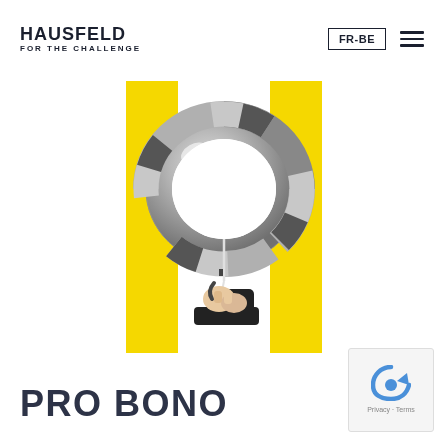HAUSFELD FOR THE CHALLENGE | FR-BE ≡
[Figure (illustration): Large yellow letter H shape made of two vertical yellow rectangles connected by a diagonal yellow crossbar, with a metallic life preserver ring (life buoy) overlaid on top of the H shape, and a hand holding a hook dangling below the crossbar, set against a white background. The Hausfeld logo mark.]
PRO BONO